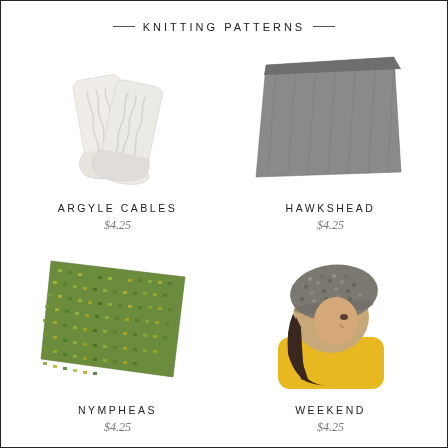KNITTING PATTERNS
[Figure (photo): White cable-knit socks laid flat on white background, Argyle Cables pattern]
ARGYLE CABLES
$4.25
[Figure (photo): Gray knitted scarf/shawl laid diagonally on white background, Hawkshead pattern]
HAWKSHEAD
$4.25
[Figure (photo): Green and yellow speckled knitted square fabric on white background, Nympheas pattern]
NYMPHEAS
$4.25
[Figure (photo): Person wearing gray speckled knit beret, yellow jacket, dark hair, Weekend pattern]
WEEKEND
$4.25